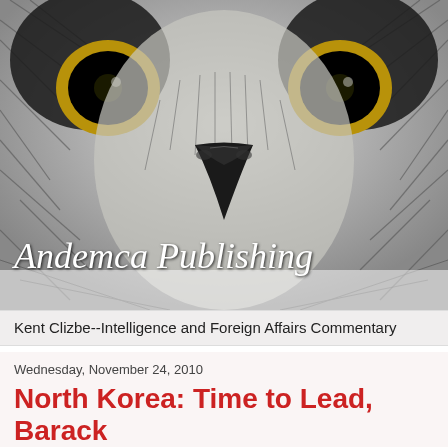[Figure (illustration): Close-up stylized/illustrated image of a falcon or hawk face with yellow eye markings, dark beak, and detailed feather patterns. Over the image, in white handwritten-style text, reads 'Andemca Publishing']
Kent Clizbe--Intelligence and Foreign Affairs Commentary
Wednesday, November 24, 2010
North Korea: Time to Lead, Barack